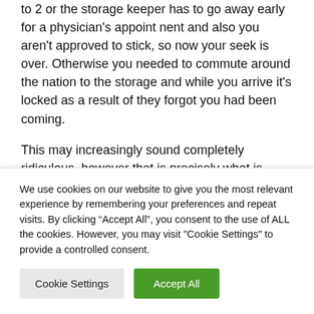to 2 or the storage keeper has to go away early for a physician's appointment and also you aren't approved to stick, so now your seek is over. Otherwise you needed to commute around the nation to the storage and while you arrive it's locked as a result of they forgot you had been coming.
This may increasingly sound completely ridiculous, however that is precisely what is going on when protection mavens are required to behavior virtual
We use cookies on our website to give you the most relevant experience by remembering your preferences and repeat visits. By clicking "Accept All", you consent to the use of ALL the cookies. However, you may visit "Cookie Settings" to provide a controlled consent.